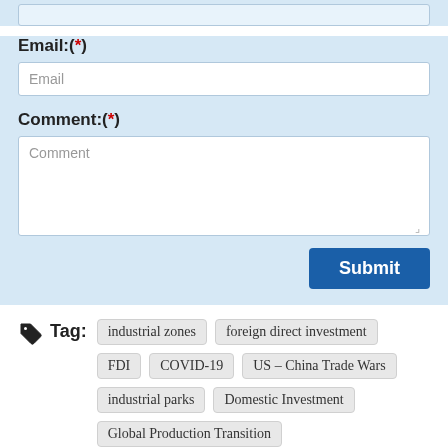Email:(*)
Email
Comment:(*)
Comment
Submit
Tag: industrial zones  foreign direct investment  FDI  COVID-19  US – China Trade Wars  industrial parks  Domestic Investment  Global Production Transition
Related Contents